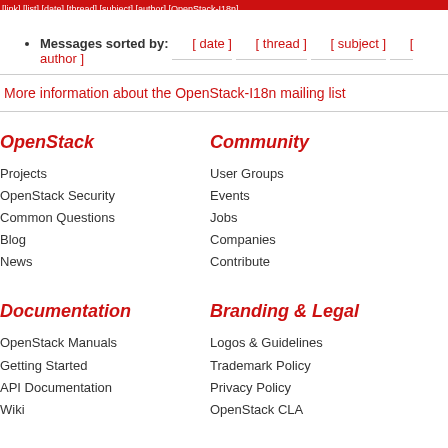[link text at top - truncated red bar]
Messages sorted by: [ date ] [ thread ] [ subject ] [ author ]
More information about the OpenStack-I18n mailing list
OpenStack
Community
Projects
User Groups
OpenStack Security
Events
Common Questions
Jobs
Blog
Companies
News
Contribute
Documentation
Branding & Legal
OpenStack Manuals
Logos & Guidelines
Getting Started
Trademark Policy
API Documentation
Privacy Policy
Wiki
OpenStack CLA